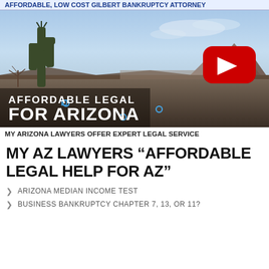AFFORDABLE, LOW COST GILBERT BANKRUPTCY ATTORNEY
[Figure (screenshot): YouTube video thumbnail showing Arizona desert landscape with saguaro cactus, mountains in background. Video overlay text reads 'AFFORDABLE LEGAL' and 'FOR ARIZONA'. Red YouTube play button in center.]
MY ARIZONA LAWYERS OFFER EXPERT LEGAL SERVICE
MY AZ LAWYERS “AFFORDABLE LEGAL HELP FOR AZ”
ARIZONA MEDIAN INCOME TEST
BUSINESS BANKRUPTCY CHAPTER 7, 13, OR 11?